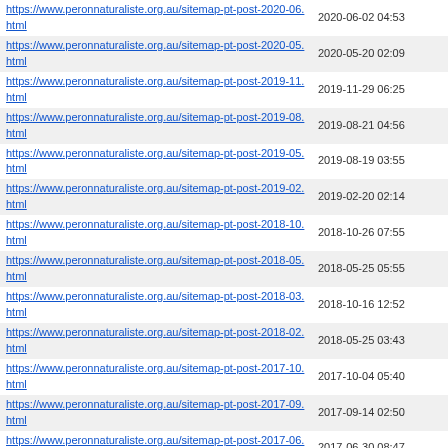| URL | Last Modified |
| --- | --- |
| https://www.peronnaturaliste.org.au/sitemap-pt-post-2020-06.html | 2020-06-02 04:53 |
| https://www.peronnaturaliste.org.au/sitemap-pt-post-2020-05.html | 2020-05-20 02:09 |
| https://www.peronnaturaliste.org.au/sitemap-pt-post-2019-11.html | 2019-11-29 06:25 |
| https://www.peronnaturaliste.org.au/sitemap-pt-post-2019-08.html | 2019-08-21 04:56 |
| https://www.peronnaturaliste.org.au/sitemap-pt-post-2019-05.html | 2019-08-19 03:55 |
| https://www.peronnaturaliste.org.au/sitemap-pt-post-2019-02.html | 2019-02-20 02:14 |
| https://www.peronnaturaliste.org.au/sitemap-pt-post-2018-10.html | 2018-10-26 07:55 |
| https://www.peronnaturaliste.org.au/sitemap-pt-post-2018-05.html | 2018-05-25 05:55 |
| https://www.peronnaturaliste.org.au/sitemap-pt-post-2018-03.html | 2018-10-16 12:52 |
| https://www.peronnaturaliste.org.au/sitemap-pt-post-2018-02.html | 2018-05-25 03:43 |
| https://www.peronnaturaliste.org.au/sitemap-pt-post-2017-10.html | 2017-10-04 05:40 |
| https://www.peronnaturaliste.org.au/sitemap-pt-post-2017-09.html | 2017-09-14 02:50 |
| https://www.peronnaturaliste.org.au/sitemap-pt-post-2017-06.html | 2017-06-30 08:47 |
| https://www.peronnaturaliste.org.au/sitemap-pt-post-2017-05.html | 2017-05-18 02:24 |
| https://www.peronnaturaliste.org.au/sitemap-pt-post-2017-03.html | 2017-05-18 02:48 |
| https://www.peronnaturaliste.org.au/sitemap-pt-post-2016-07.html | 2017-01-03 04:28 |
| https://www.peronnaturaliste.org.au/sitemap-pt-post-2016-05.html | 2017-01-18 03:54 |
| https://www.peronnaturaliste.org.au/sitemap-pt-post-2015-08.html | 2017-06-08 07:11 |
| https://www.peronnaturaliste.org.au/sitemap-pt-post-2014-07.html | 2017-01-18 03:52 |
| https://www.peronnaturaliste.org.au/sitemap-pt-post-2013-12.html | 2017-01-18 03:48 |
| https://www.peronnaturaliste.org.au/sitemap-pt-post-2013-11.html | 2017-01-18 03:44 |
| https://www.peronnaturaliste.org.au/sitemap-pt-post-2013-03.html | 2017-01-03 04:37 |
| https://www.peronnaturaliste.org.au/sitemap-pt-page-2021-02.html | 2021-02-26 06:18 |
| https://www.peronnaturaliste.org.au/sitemap-pt-page-2016-10.html | 2021-06-01 07:53 |
| https://www.peronnaturaliste.org.au/sitemap-pt-page-2016-06.html | 2020-05-20 02:11 |
Generated with Google (XML) Sitemaps Generator Plugin for WordPress by Auctollo. This XSLT template is released under the GPL and free to use. If you have problems with your sitemap please visit the support forum.